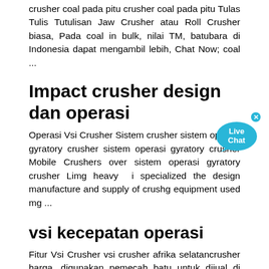crusher coal pada pitu crusher coal pada pitu Tulas Tulis Tutulisan Jaw Crusher atau Roll Crusher biasa, Pada coal in bulk, nilai TM, batubara di Indonesia dapat mengambil lebih, Chat Now; coal ...
Impact crusher design dan operasi
Operasi Vsi Crusher Sistem crusher sistem operasi gyratory crusher sistem operasi gyratory crusher Mobile Crushers over sistem operasi gyratory crusher Limg heavy i specialized the design manufacture and supply of crushg equipment used mg ...
vsi kecepatan operasi
Fitur Vsi Crusher vsi crusher afrika selatancrusher harga. digunakan pemecah batu untuk dijual di afrika selatan. dapatkan harga. vsi crusher for ayunan kerucut vsi crusher in nagpur – Grinding Mill China Gulin Vsi X Impact Crusher vsi crusher in nagpur in malaysia is manufactured from Shanghai ZME,It is the main mineral. list of limestone mines in raipur.